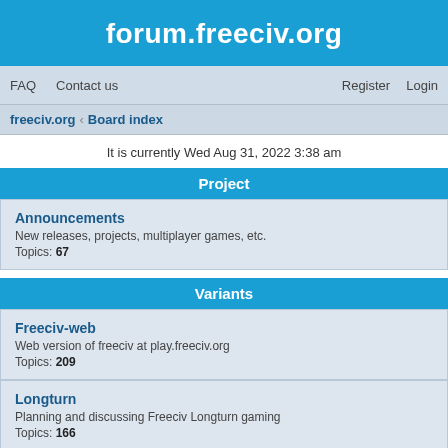forum.freeciv.org
FAQ   Contact us   Register   Login
freeciv.org › Board index
It is currently Wed Aug 31, 2022 3:38 am
Project
Announcements
New releases, projects, multiplayer games, etc.
Topics: 67
Variants
Freeciv-web
Web version of freeciv at play.freeciv.org
Topics: 209
Longturn
Planning and discussing Freeciv Longturn gaming
Topics: 166
Gaming
Multiplayer / Online gaming
Join us, meet players from all around the world, challenge the strongest top players, practice and be one of them!
Topics: 66